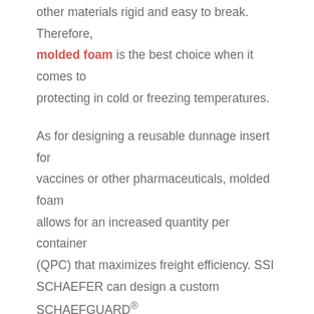other materials rigid and easy to break. Therefore, molded foam is the best choice when it comes to protecting in cold or freezing temperatures.

As for designing a reusable dunnage insert for vaccines or other pharmaceuticals, molded foam allows for an increased quantity per container (QPC) that maximizes freight efficiency. SSI SCHAEFER can design a custom SCHAEFGUARD® solution around the exact geometry of the vail or bottle being transported. The molded foam reusable container can be used multiple times and then recycled, which saves on packaging costs. A reduced packaging size can save as much as 40%. The savings creates a lighter weight container that